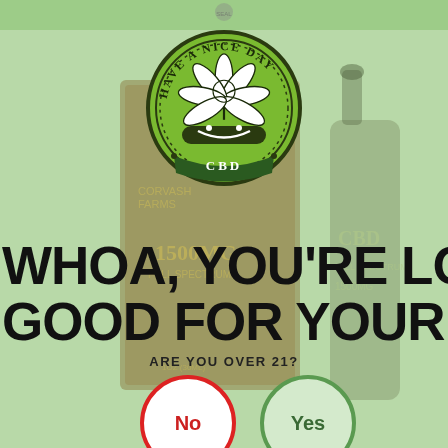[Figure (logo): Have A Nice Day CBD circular seal logo with cannabis leaf and smile, green and black color scheme]
[Figure (photo): CBD product box and dropper bottle from Corvash Farms, 1500MG Full Spectrum CBD, shown as background product images]
WHOA, YOU'RE LOOKING GOOD FOR YOUR AGE.
ARE YOU OVER 21?
No
Yes
Feedback